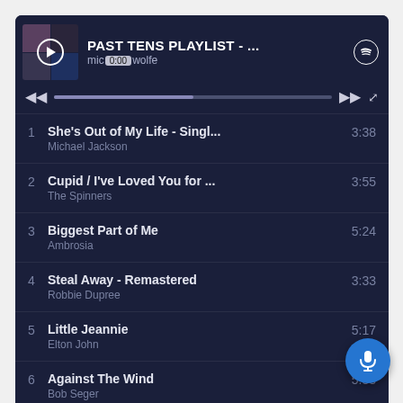[Figure (screenshot): Spotify app showing PAST TENS PLAYLIST with now-playing header and track list]
1  She's Out of My Life - Singl...  3:38
Michael Jackson
2  Cupid / I've Loved You for ...  3:55
The Spinners
3  Biggest Part of Me  5:24
Ambrosia
4  Steal Away - Remastered  3:33
Robbie Dupree
5  Little Jeannie  5:17
Elton John
6  Against The Wind  5:33
Bob Seger